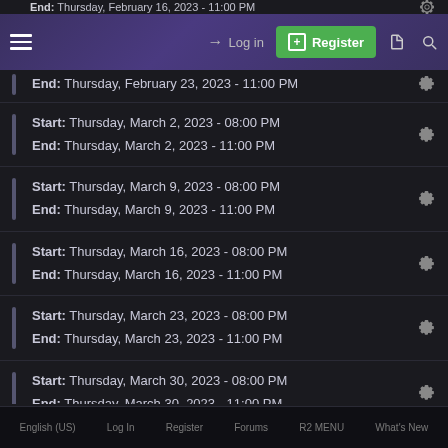End: Thursday, February 16, 2023 - 11:00 PM [navigation bar with Log in, Register, menu, search icons]
End: Thursday, February 23, 2023 - 11:00 PM
Start: Thursday, March 2, 2023 - 08:00 PM
End: Thursday, March 2, 2023 - 11:00 PM
Start: Thursday, March 9, 2023 - 08:00 PM
End: Thursday, March 9, 2023 - 11:00 PM
Start: Thursday, March 16, 2023 - 08:00 PM
End: Thursday, March 16, 2023 - 11:00 PM
Start: Thursday, March 23, 2023 - 08:00 PM
End: Thursday, March 23, 2023 - 11:00 PM
Start: Thursday, March 30, 2023 - 08:00 PM
End: Thursday, March 30, 2023 - 11:00 PM
Start: Thursday, April 6, 2023 - 08:00 PM
End: Thursday, April 6, 2023 - 11:00 PM
English (US)   Log In   Register   Forums   R2 MENU   What's New